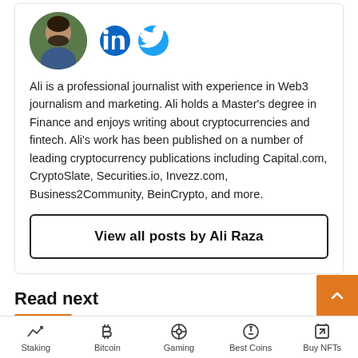[Figure (photo): Circular avatar photo of Ali Raza, a man with a beard wearing a blue jacket, with LinkedIn and Twitter social icons to the right]
Ali is a professional journalist with experience in Web3 journalism and marketing. Ali holds a Master's degree in Finance and enjoys writing about cryptocurrencies and fintech. Ali's work has been published on a number of leading cryptocurrency publications including Capital.com, CryptoSlate, Securities.io, Invezz.com, Business2Community, BeinCrypto, and more.
View all posts by Ali Raza
Read next
[Figure (photo): Partially visible preview image for a 'Read next' article]
Staking | Bitcoin | Gaming | Best Coins | Buy NFTs